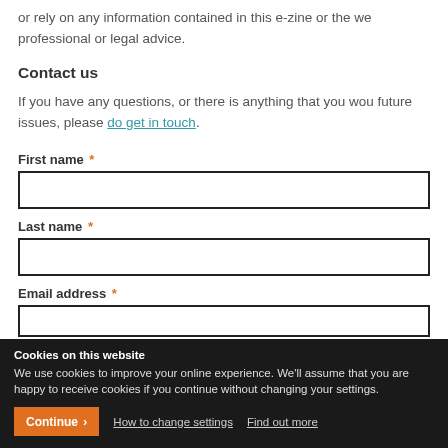or rely on any information contained in this e-zine or the we professional or legal advice.
Contact us
If you have any questions, or there is anything that you wou future issues, please do get in touch.
First name *
Last name *
Email address *
Cookies on this website
We use cookies to improve your online experience. We'll assume that you are happy to receive cookies if you continue without changing your settings.
Continue | How to change settings | Find out more